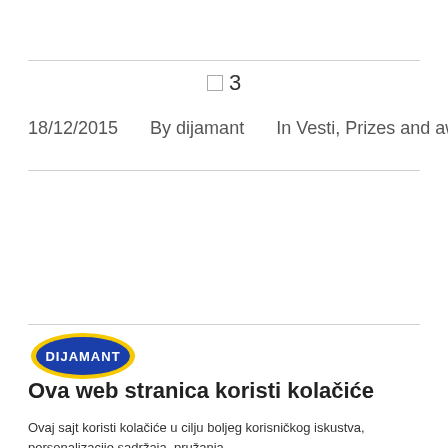3
18/12/2015    By dijamant    In Vesti, Prizes and awards
[Figure (logo): Dijamant logo - blue oval shape with yellow border and white text DIJAMANT]
Ova web stranica koristi kolačiće
Ovaj sajt koristi kolačiće u cilju boljeg korisničkog iskustva, personalizacije sadržaja, pružanja